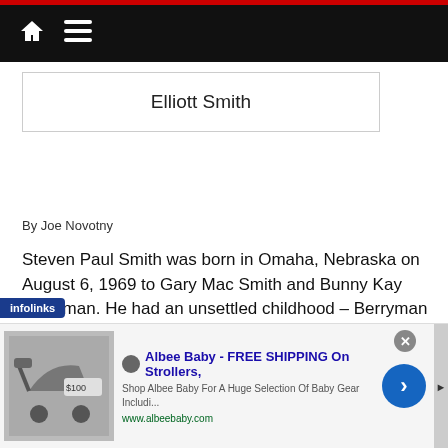Elliott Smith
By Joe Novotny
Steven Paul Smith was born in Omaha, Nebraska on August 6, 1969 to Gary Mac Smith and Bunny Kay Berryman. He had an unsettled childhood – Berryman divorced her husband and moved to Duncanville, Texas (near Dallas) with little Steven.  Dad moved to Portland,
[Figure (screenshot): Advertisement banner for Albee Baby - FREE SHIPPING On Strollers, with infolinks badge overlay]